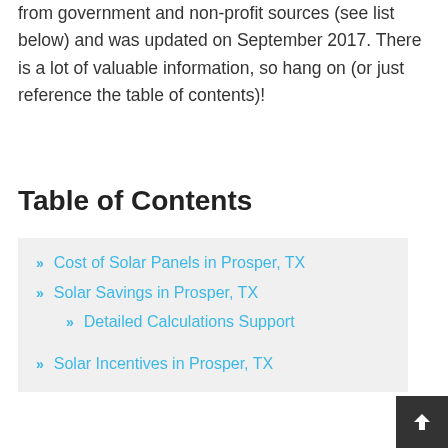from government and non-profit sources (see list below) and was updated on September 2017. There is a lot of valuable information, so hang on (or just reference the table of contents)!
Table of Contents
Cost of Solar Panels in Prosper, TX
Solar Savings in Prosper, TX
Detailed Calculations Support
Solar Incentives in Prosper, TX